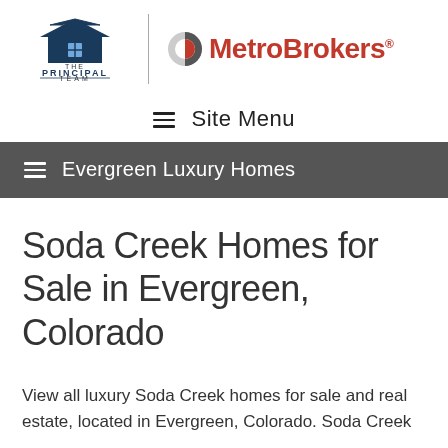[Figure (logo): The Principal Team and MetroBrokers logos side by side, separated by a vertical divider line]
≡  Site Menu
≡  Evergreen Luxury Homes
Soda Creek Homes for Sale in Evergreen, Colorado
View all luxury Soda Creek homes for sale and real estate, located in Evergreen, Colorado. Soda Creek